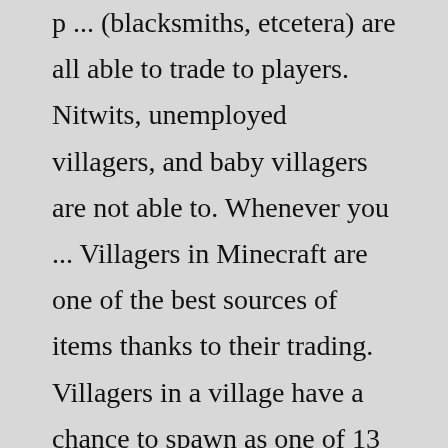p ... (blacksmiths, etcetera) are all able to trade to players. Nitwits, unemployed villagers, and baby villagers are not able to. Whenever you ... Villagers in Minecraft are one of the best sources of items thanks to their trading. Villagers in a village have a chance to spawn as one of 13 professions, thanks to relevant blocks placed near their beds. Once a villager has the prerequisite block placed near their bed, they will "claim" the block